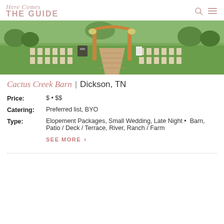Here Comes THE GUIDE
[Figure (photo): Outdoor barn wedding venue with rows of wooden chairs arranged on green lawn, wooden barn structure with open doors, brick pathway leading toward the entrance, decorated with flowers and greenery]
Cactus Creek Barn | Dickson, TN
Price: $ • $$
Catering: Preferred list, BYO
Type: Elopement Packages, Small Wedding, Late Night • Barn, Patio / Deck / Terrace, River, Ranch / Farm
SEE MORE >